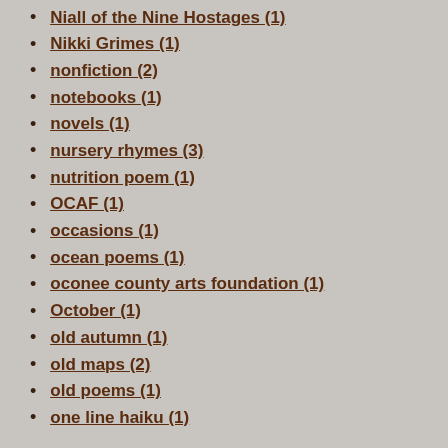Niall of the Nine Hostages (1)
Nikki Grimes (1)
nonfiction (2)
notebooks (1)
novels (1)
nursery rhymes (3)
nutrition poem (1)
OCAF (1)
occasions (1)
ocean poems (1)
oconee county arts foundation (1)
October (1)
old autumn (1)
old maps (2)
old poems (1)
one line haiku (1)